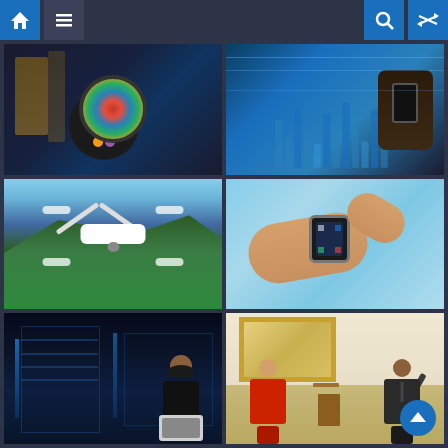[Figure (screenshot): Website navigation bar with home icon, hamburger menu, search icon, and shuffle icon on dark blue background]
[Figure (photo): Dark display screen with colorful circular icon/logo]
[Figure (photo): Hands holding a smartphone over a digital data visualization / financial chart display]
[Figure (photo): White quadcopter drone flying over green landscape with mountains and blue sky]
[Figure (photo): Close-up of hand wearing a smartwatch, another hand touching the watch screen]
[Figure (photo): Woman in data center holding a laptop, surrounded by server racks]
[Figure (photo): Two men seated and talking in a formal room - appears to be the Dalai Lama and Barack Obama]